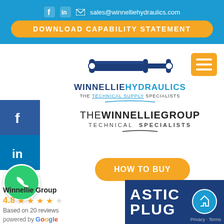f in | sales@winnelliehydraulics.com
DOWNLOAD CAPABILITY STATEMENT
[Figure (logo): Winnellie Hydraulics logo with hydraulic cylinder graphic and text WINNELLIEHYDRAULICS THE TECHNICAL SUPPLY SPECIALISTS]
[Figure (logo): THE WINNELLIE GROUP TECHNICAL SPECIALISTS logo]
HOW TO BUY
Winnellie Group
4.8 ★★★★✩ Based on 20 reviews powered by Google
[Figure (screenshot): Partial view of a product page showing text ASTIC PLUG on dark blue background with Google Maps icon and Privacy-Terms link]